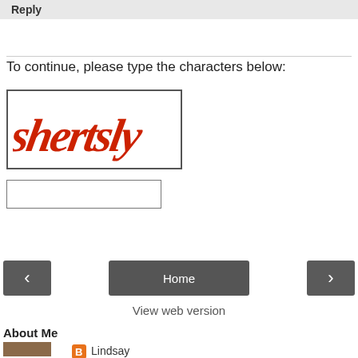Reply
To continue, please type the characters below:
[Figure (other): CAPTCHA image showing stylized red italic text reading 'shertsly' on white background with border]
(empty text input box for CAPTCHA entry)
Home
View web version
About Me
Lindsay